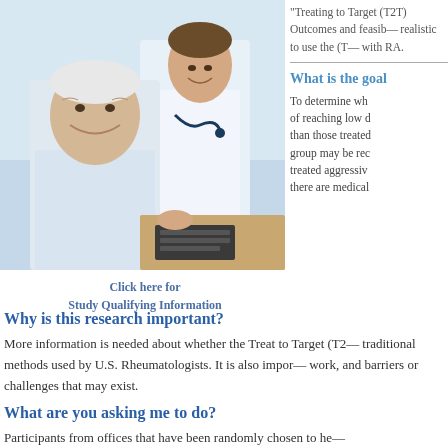[Figure (photo): Photo of an elderly male patient smiling, with a doctor in a white coat and stethoscope in the background also smiling]
Click here for
Study Qualifying Information
“Treating to Target Outcomes and feasib realistic to use the (T with RA.
What is the goal
To determine wh of reaching low d than those treated group may be rec treated aggressiv there are medical
Why is this research important?
More information is needed about whether the Treat to Target (T2 traditional methods used by U.S. Rheumatologists. It is also impor work, and barriers or challenges that may exist.
What are you asking me to do?
Participants from offices that have been randomly chosen to he